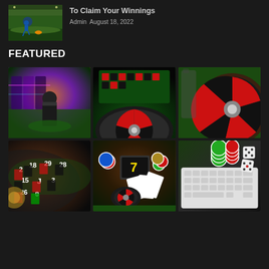[Figure (photo): Soccer/football player sliding on field, stadium background thumbnail]
To Claim Your Winnings
Admin  August 18, 2022
FEATURED
[Figure (photo): Casino floor with slot machines and masked dealer in dark lighting]
[Figure (photo): Roulette table with green felt and spinning wheel, dark background]
[Figure (photo): Roulette wheel close-up with wooden frame on green table]
[Figure (photo): Close-up of roulette wheel numbers on dark background]
[Figure (photo): Casino chips, playing cards, slot machine 7, and roulette wheel collage]
[Figure (photo): Green and red casino chips stacked on white keyboard with dice]